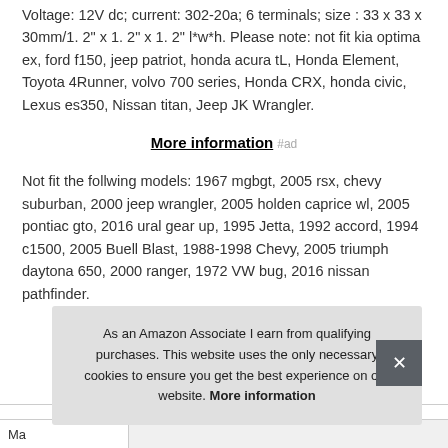Voltage: 12V dc; current: 302-20a; 6 terminals; size : 33 x 33 x 30mm/1. 2" x 1. 2" x 1. 2" l*w*h. Please note: not fit kia optima ex, ford f150, jeep patriot, honda acura tL, Honda Element, Toyota 4Runner, volvo 700 series, Honda CRX, honda civic, Lexus es350, Nissan titan, Jeep JK Wrangler.
More information #ad
Not fit the follwing models: 1967 mgbgt, 2005 rsx, chevy suburban, 2000 jeep wrangler, 2005 holden caprice wl, 2005 pontiac gto, 2016 ural gear up, 1995 Jetta, 1992 accord, 1994 c1500, 2005 Buell Blast, 1988-1998 Chevy, 2005 triumph daytona 650, 2000 ranger, 1972 VW bug, 2016 nissan pathfinder.
As an Amazon Associate I earn from qualifying purchases. This website uses the only necessary cookies to ensure you get the best experience on our website. More information
| Ma |  |